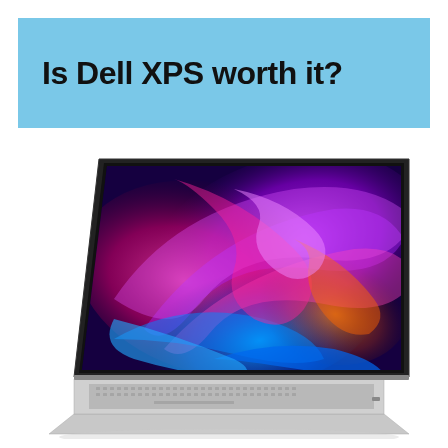Is Dell XPS worth it?
[Figure (photo): Dell XPS laptop open at an angle, showing a colorful purple, pink, and blue swirling abstract wallpaper on the display, with a silver aluminum body and keyboard visible.]